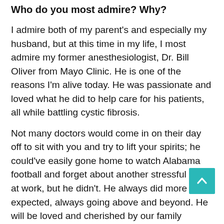Who do you most admire? Why?
I admire both of my parent's and especially my husband, but at this time in my life, I most admire my former anesthesiologist, Dr. Bill Oliver from Mayo Clinic. He is one of the reasons I'm alive today. He was passionate and loved what he did to help care for his patients, all while battling cystic fibrosis.
Not many doctors would come in on their day off to sit with you and try to lift your spirits; he could've easily gone home to watch Alabama football and forget about another stressful day at work, but he didn't. He always did more than expected, always going above and beyond. He will be loved and cherished by our family forever.
He didn't let CF stop him from living the life he always wanted to live. He persevered, and I hope to have the